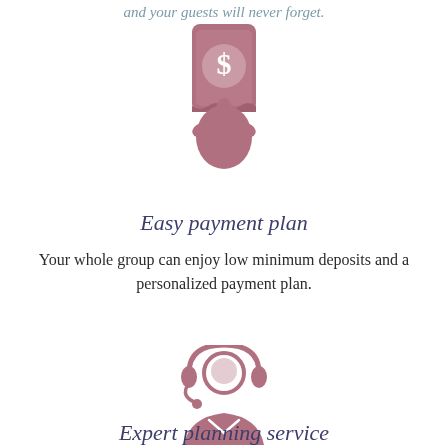and your guests will never forget.
[Figure (illustration): Hand holding a phone with a dollar sign icon, in muted rose/pink color]
Easy payment plan
Your whole group can enjoy low minimum deposits and a personalized payment plan.
[Figure (illustration): Customer service agent with headset icon, in muted rose/pink color]
Expert planning service